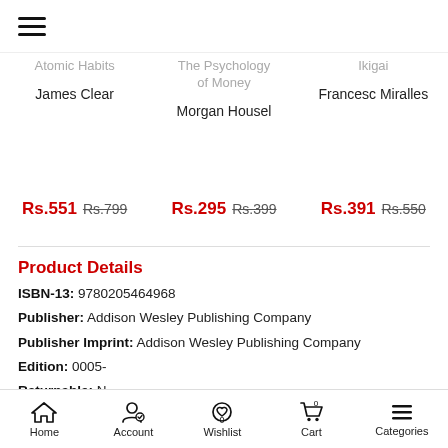≡ (hamburger menu icon)
Atomic Habits | The Psychology of Money | Ikigai
James Clear | Morgan Housel | Francesc Miralles
Rs.551  Rs.799  |  Rs.295  Rs.399  |  Rs.391  Rs.550
Product Details
ISBN-13: 9780205464968
Publisher: Addison Wesley Publishing Company
Publisher Imprint: Addison Wesley Publishing Company
Edition: 0005-
Returnable: N
Home  Account  Wishlist  Cart  Categories